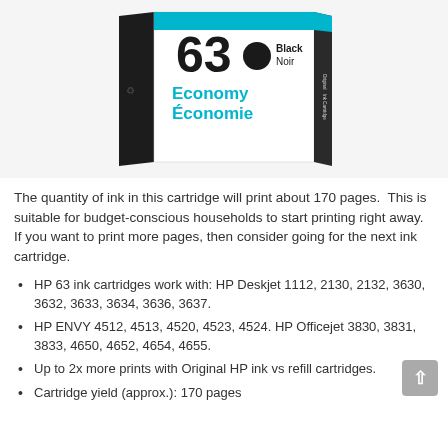[Figure (photo): HP 63 Black Economy ink cartridge box product photo showing the front face with number 63, a black circle color swatch, Black/Noir label, and Economy/Économie text in teal, with dark side panels.]
The quantity of ink in this cartridge will print about 170 pages.  This is suitable for budget-conscious households to start printing right away. If you want to print more pages, then consider going for the next ink cartridge.
HP 63 ink cartridges work with: HP Deskjet 1112, 2130, 2132, 3630, 3632, 3633, 3634, 3636, 3637.
HP ENVY 4512, 4513, 4520, 4523, 4524. HP Officejet 3830, 3831, 3833, 4650, 4652, 4654, 4655.
Up to 2x more prints with Original HP ink vs refill cartridges.
Cartridge yield (approx.): 170 pages